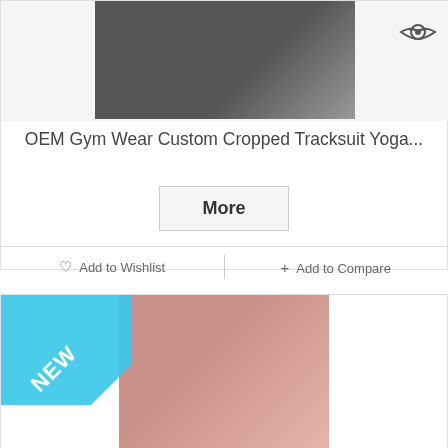[Figure (photo): Product photo of black tracksuit/yoga wear on model, with a circular eye logo in top right corner]
OEM Gym Wear Custom Cropped Tracksuit Yoga...
More
♡ Add to Wishlist
+ Add to Compare
[Figure (photo): Product photo of woman wearing pink hoodie/athletic top against pink background, with NEW badge in top left corner]